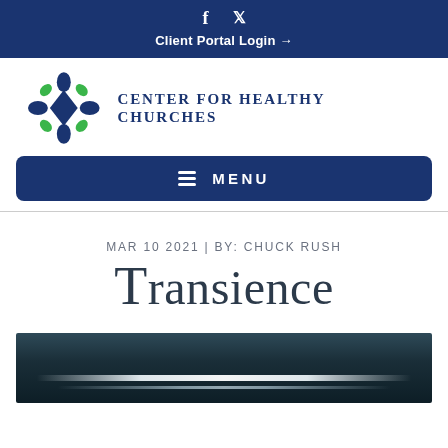f  ‹twitter›  Client Portal Login →
[Figure (logo): Center for Healthy Churches logo with decorative flower/cross icon and text 'CENTER FOR HEALTHY CHURCHES']
≡  MENU
MAR 10 2021 | BY: CHUCK RUSH
Transience
[Figure (photo): Photograph showing a ceiling with fluorescent lighting strip glowing brightly against a dark industrial background]